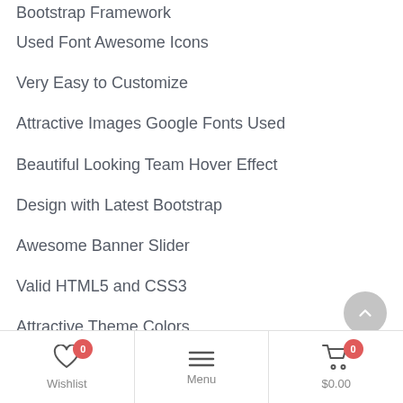Bootstrap Framework
Used Font Awesome Icons
Very Easy to Customize
Attractive Images Google Fonts Used
Beautiful Looking Team Hover Effect
Design with Latest Bootstrap
Awesome Banner Slider
Valid HTML5 and CSS3
Attractive Theme Colors
And much more.
Wishlist 0  Menu  $0.00 0